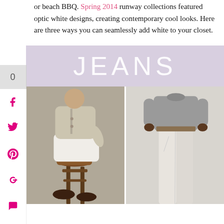or beach BBQ. Spring 2014 runway collections featured optic white designs, creating contemporary cool looks. Here are three ways you can seamlessly add white to your closet.
JEANS
[Figure (photo): Two photos side by side: left shows a man sitting on a wooden stool wearing white rolled-up jeans and a beige jacket with brown shoes; right shows a man standing wearing white straight-leg jeans and a grey t-shirt.]